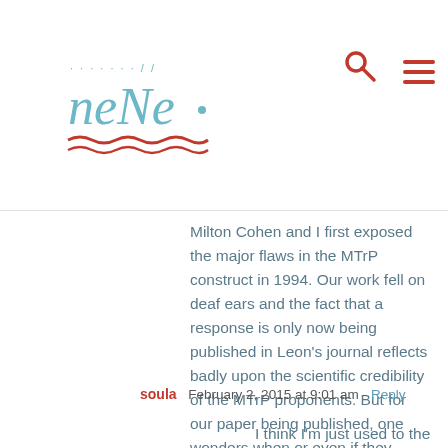nerve logo, search and menu icons
Milton Cohen and I first exposed the major flaws in the MTrP construct in 1994. Our work fell on deaf ears and the fact that a response is only now being published in Leon’s journal reflects badly upon the scientific credibility of the MTrP proponents. But for our paper being published, one wonders when or even if they would have “seen the light”.
soula  February 2, 2015 at 9:01 am - Reply
I think I’m just used to the creative